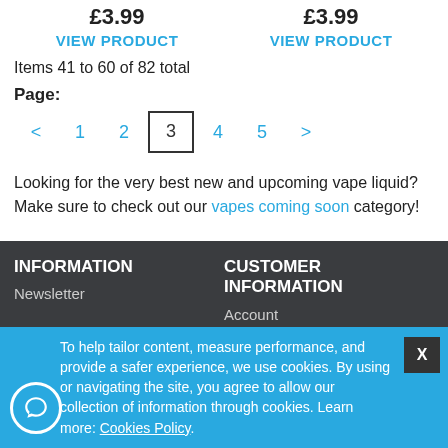£3.99   £3.99
VIEW PRODUCT   VIEW PRODUCT
Items 41 to 60 of 82 total
Page:
< 1 2 3 4 5 >
Looking for the very best new and upcoming vape liquid? Make sure to check out our vapes coming soon category!
INFORMATION
Newsletter
CUSTOMER INFORMATION
Account
To help tailor content, measure performance, and provide a safer experience, we use cookies. By using or navigating the site, you agree to allow our collection of information through cookies. Learn more: Cookies Policy.